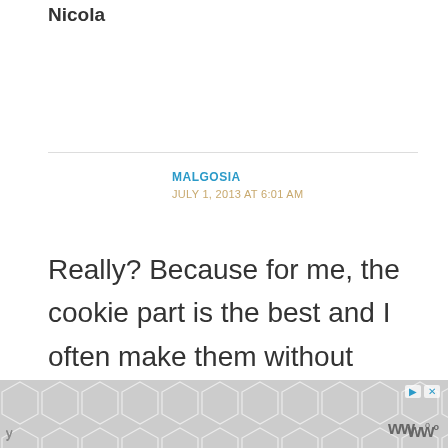Nicola
MALGOSIA
JULY 1, 2013 AT 6:01 AM
Really? Because for me, the cookie part is the best and I often make them without chocolate chips!
IZY
JULY 1, 2013 AT 10:04 PM
[Figure (other): Advertisement banner with hexagonal pattern, play and close controls, and Wordmark logo]